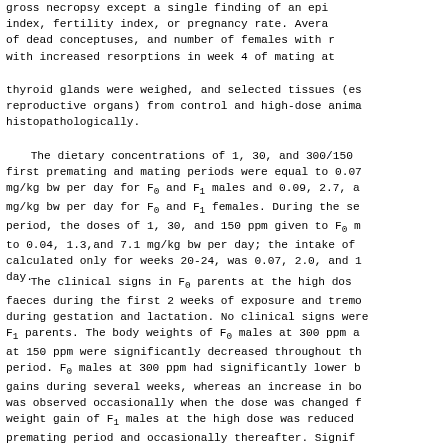gross necropsy except a single finding of an epi index, fertility index, or pregnancy rate. Average of dead conceptuses, and number of females with r with increased resorptions in week 4 of mating at
thyroid glands were weighed, and selected tissues (es reproductive organs) from control and high-dose anima histopathologically.
The dietary concentrations of 1, 30, and 300/150 first premating and mating periods were equal to 0.07 mg/kg bw per day for F₀ and F₁ males and 0.09, 2.7, a mg/kg bw per day for F₀ and F₁ females. During the se period, the doses of 1, 30, and 150 ppm given to F₀ m to 0.04, 1.3,and 7.1 mg/kg bw per day; the intake of calculated only for weeks 20-24, was 0.07, 2.0, and 1 day.
The clinical signs in F₀ parents at the high dos faeces during the first 2 weeks of exposure and tremo during gestation and lactation. No clinical signs were F₁ parents. The body weights of F₀ males at 300 ppm a at 150 ppm were significantly decreased throughout th period. F₀ males at 300 ppm had significantly lower b gains during several weeks, whereas an increase in bo was observed occasionally when the dose was changed f weight gain of F₁ males at the high dose was reduced premating period and occasionally thereafter. Signif body weight gains were observed occasionally in d